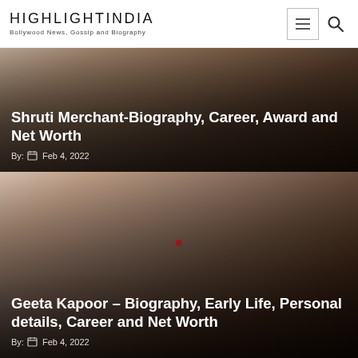HIGHLIGHTINDIA — Bollywood News, Gossip and Biography
Shruti Merchant-Biography, Career, Award and Net Worth
By: Feb 4, 2022
[Figure (photo): Photo of Shruti Merchant, dark-toned background portrait]
Geeta Kapoor – Biography, Early Life, Personal details, Career and Net Worth
By: Feb 4, 2022
[Figure (photo): Photo of Geeta Kapoor, woman with red bindi, outdoor background]